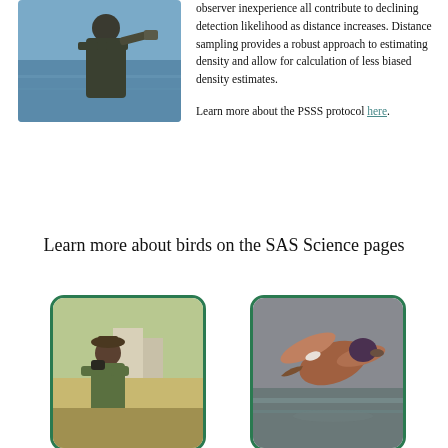[Figure (photo): Person holding binoculars or equipment near water, viewed from behind]
observer inexperience all contribute to declining detection likelihood as distance increases. Distance sampling provides a robust approach to estimating density and allow for calculation of less biased density estimates.
Learn more about the PSSS protocol here.
Learn more about birds on the SAS Science pages
[Figure (photo): Person with binoculars in field gear observing birds]
[Figure (photo): A harlequin duck or similar duck in flight over water]